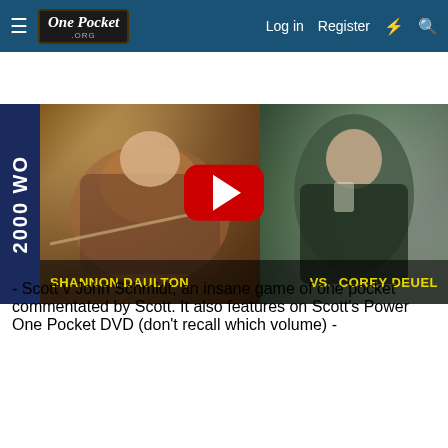One Pocket .ORG — Log in  Register
[Figure (screenshot): YouTube thumbnail showing two pool players: Shannon Daulton vs. Corey Deuel, with 2000 WO text on left side and a YouTube play button in the center]
- Scott v John Schmidt, an insane game of one pocket commentated by Scott. It also features on Scott's Power One Pocket DVD (don't recall which volume) -
[Figure (screenshot): YouTube video embed showing 'Insane Game of One Pocket - Scott F...' with a pool table scene and play button]